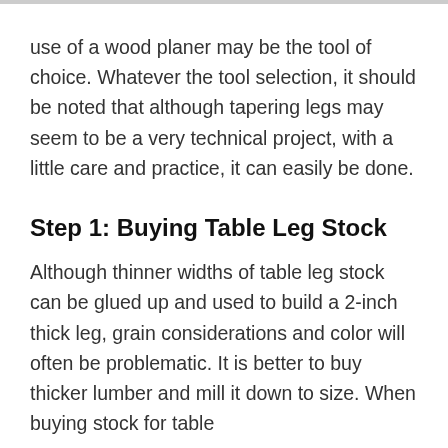use of a wood planer may be the tool of choice. Whatever the tool selection, it should be noted that although tapering legs may seem to be a very technical project, with a little care and practice, it can easily be done.
Step 1: Buying Table Leg Stock
Although thinner widths of table leg stock can be glued up and used to build a 2-inch thick leg, grain considerations and color will often be problematic. It is better to buy thicker lumber and mill it down to size. When buying stock for table